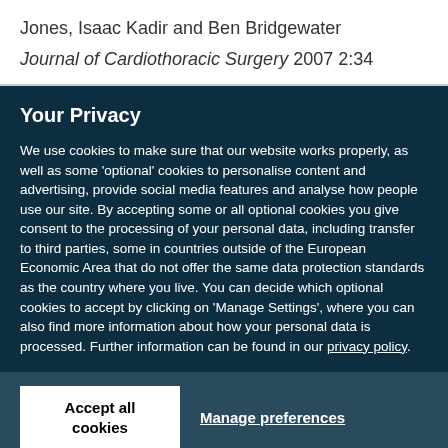Jones, Isaac Kadir and Ben Bridgewater
Journal of Cardiothoracic Surgery 2007 2:34
Your Privacy
We use cookies to make sure that our website works properly, as well as some ‘optional’ cookies to personalise content and advertising, provide social media features and analyse how people use our site. By accepting some or all optional cookies you give consent to the processing of your personal data, including transfer to third parties, some in countries outside of the European Economic Area that do not offer the same data protection standards as the country where you live. You can decide which optional cookies to accept by clicking on ‘Manage Settings’, where you can also find more information about how your personal data is processed. Further information can be found in our privacy policy.
Accept all cookies
Manage preferences